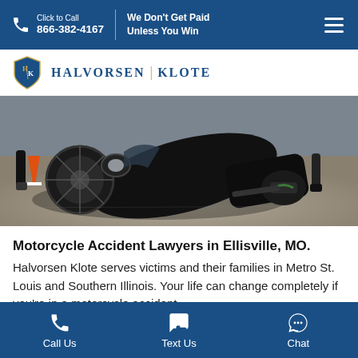Click to Call 866-382-4167 | We Don't Get Paid Unless You Win
[Figure (logo): Halvorsen Klote law firm logo with shield icon and firm name]
[Figure (photo): Crashed black motorcycle lying on its side in the road, with orange traffic cone and people's legs visible around it]
Motorcycle Accident Lawyers in Ellisville, MO.
Halvorsen Klote serves victims and their families in Metro St. Louis and Southern Illinois. Your life can change completely if you're in a motorcycle accident.
Call Us | Text Us | Chat